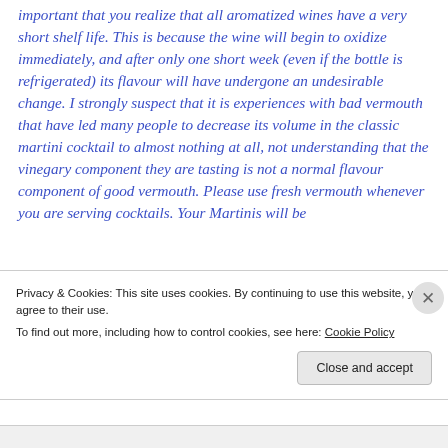important that you realize that all aromatized wines have a very short shelf life. This is because the wine will begin to oxidize immediately, and after only one short week (even if the bottle is refrigerated) its flavour will have undergone an undesirable change. I strongly suspect that it is experiences with bad vermouth that have led many people to decrease its volume in the classic martini cocktail to almost nothing at all, not understanding that the vinegary component they are tasting is not a normal flavour component of good vermouth. Please use fresh vermouth whenever you are serving cocktails. Your Martinis will be
Privacy & Cookies: This site uses cookies. By continuing to use this website, you agree to their use.
To find out more, including how to control cookies, see here: Cookie Policy